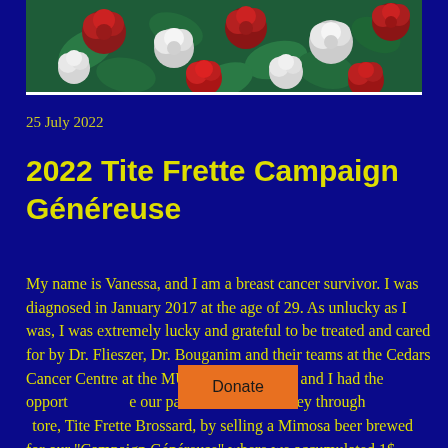[Figure (photo): Floral pattern image with roses in red and white on a dark green background, shown at the top of the page]
25 July 2022
2022 Tite Frette Campaign Généreuse
My name is Vanessa, and I am a breast cancer survivor. I was diagnosed in January 2017 at the age of 29. As unlucky as I was, I was extremely lucky and grateful to be treated and cared for by Dr. Flieszer, Dr. Bouganim and their teams at the Cedars Cancer Centre at the MUHC. My husband and I had the opportunity to use our passion to raise money through our store, Tite Frette Brossard, by selling a Mimosa beer brewed for our "Campaign Généreuse" where we accumulated 1$